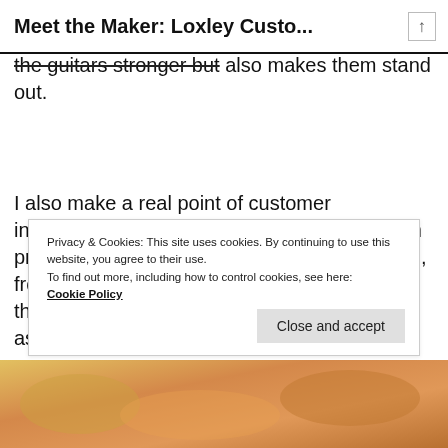Meet the Maker: Loxley Custo...
the guitars stronger but also makes them stand out.
I also make a real point of customer interaction. I frequently update customers with progress and many photos of their guitar build, from the choice of the timbers, the process of the building of the instrument and the assembly. This has proved a real hit with
Privacy & Cookies: This site uses cookies. By continuing to use this website, you agree to their use.
To find out more, including how to control cookies, see here:
Cookie Policy
[Figure (photo): Bottom strip showing partial view of guitars with orange/golden tones]